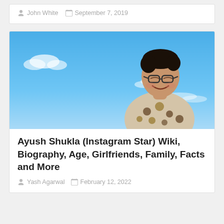John White   September 7, 2019
[Figure (photo): Young man with glasses smiling, wearing a floral/patterned shirt, standing against a bright blue sky with some clouds]
Ayush Shukla (Instagram Star) Wiki, Biography, Age, Girlfriends, Family, Facts and More
Yash Agarwal   February 12, 2022